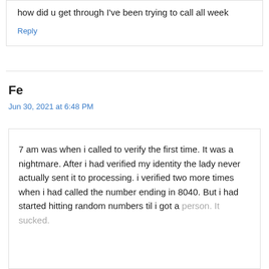how did u get through I've been trying to call all week
Reply
Fe
Jun 30, 2021 at 6:48 PM
7 am was when i called to verify the first time. It was a nightmare. After i had verified my identity the lady never actually sent it to processing. i verified two more times when i had called the number ending in 8040. But i had started hitting random numbers til i got a person. It sucked.